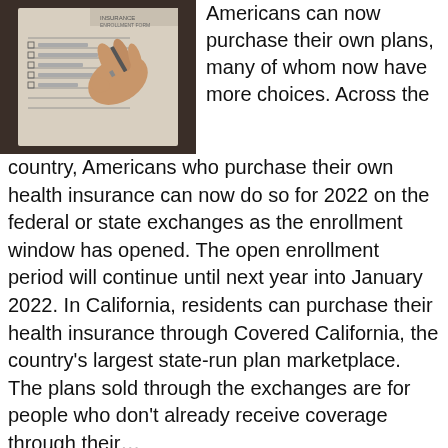[Figure (photo): A person's hand holding a pen, filling out a health insurance enrollment form on a clipboard. The form is visible with checkboxes and lines.]
Americans can now purchase their own plans, many of whom now have more choices. Across the country, Americans who purchase their own health insurance can now do so for 2022 on the federal or state exchanges as the enrollment window has opened. The open enrollment period will continue until next year into January 2022. In California, residents can purchase their health insurance through Covered California, the country's largest state-run plan marketplace. The plans sold through the exchanges are for people who don't already receive coverage through their…
READ MORE